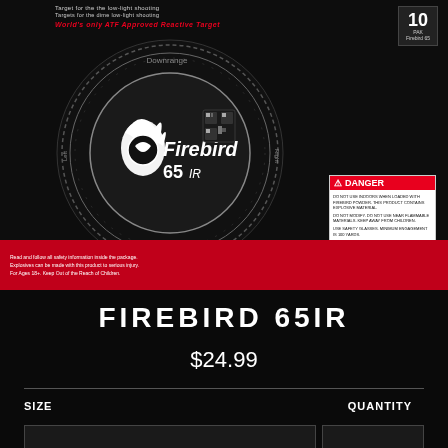[Figure (photo): Product packaging image for Firebird 65IR target. Black background with circular Firebird 65IR logo/disk in center, white circular design with brand name. Red danger label visible in lower right of image. Red bar at bottom of packaging with white text. Badge with '10' in upper right corner.]
FIREBIRD 65IR
$24.99
SIZE
QUANTITY